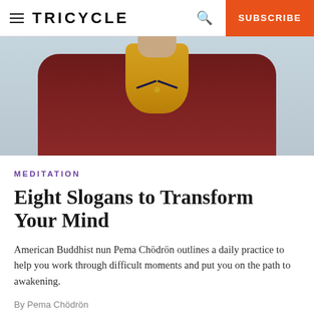≡ TRICYCLE   🔍   SUBSCRIBE
[Figure (photo): A person wearing a dark maroon robe over a yellow/golden top, photographed from the neck/chest area. The background is a light grayish-blue. Only the lower neck and upper chest area of the person is visible.]
MEDITATION
Eight Slogans to Transform Your Mind
American Buddhist nun Pema Chödrön outlines a daily practice to help you work through difficult moments and put you on the path to awakening.
By Pema Chödrön
MAR 28, 2020